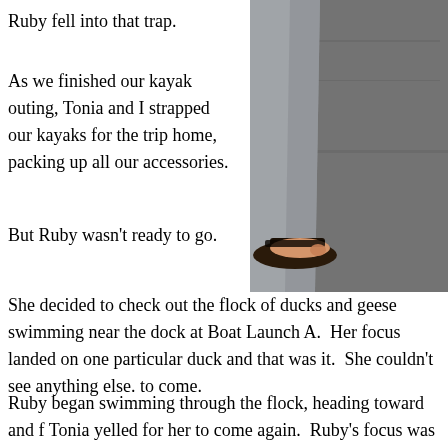Ruby fell into that trap.
[Figure (photo): Close-up photo of a person's lower leg wearing a sandal, standing on asphalt/pavement. The person is wearing grey pants/trousers.]
As we finished our kayak outing, Tonia and I strapped our kayaks for the trip home, packing up all our accessories.
But Ruby wasn't ready to go.
She decided to check out the flock of ducks and geese swimming near the dock at Boat Launch A.  Her focus landed on one particular duck and that was it.  She couldn't see anything else. to come.
Ruby began swimming through the flock, heading toward and f Tonia yelled for her to come again.  Ruby's focus was so intent, want to hear) and continued swimming after the duck.  Unfortun on anymore and she was swimming toward the middle of the lal duck.